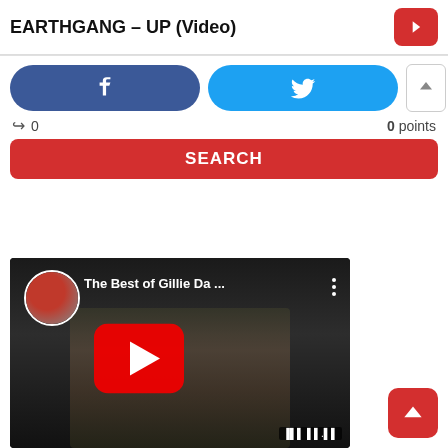EARTHGANG – UP (Video)
[Figure (screenshot): Facebook share button (blue rounded rectangle with 'f' icon)]
[Figure (screenshot): Twitter share button (cyan rounded rectangle with bird icon)]
[Figure (screenshot): Upvote and downvote buttons (white rounded rectangles with arrow icons)]
0
0 points
SEARCH
[Figure (screenshot): YouTube embedded video thumbnail showing 'The Best of Gillie Da ...' with play button overlay and channel avatar]